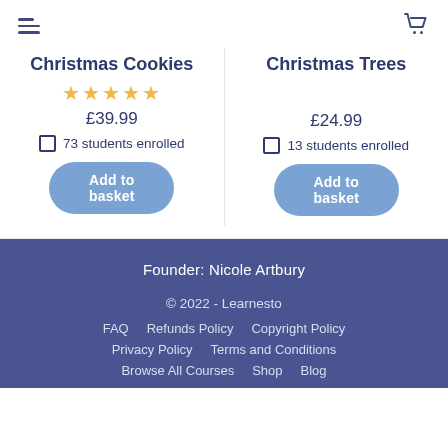Navigation header with hamburger menu and cart icon
Christmas Cookies
★★★★★
£39.99
73 students enrolled
Add to basket
Christmas Trees
£24.99
13 students enrolled
Add to basket
Founder: Nicole Artbury
© 2022 - Learnesto
FAQ   Refunds Policy   Copyright Policy
Privacy Policy   Terms and Conditions
Browse All Courses   Shop   Blog